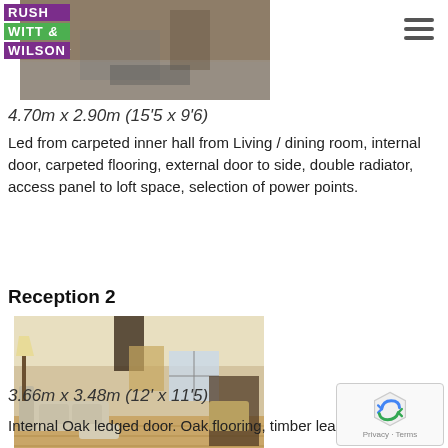[Figure (photo): Logo of Rush Witt & Wilson estate agents overlaid on interior room photo]
4.70m x 2.90m (15'5 x 9'6)
Led from carpeted inner hall from Living / dining room, internal door, carpeted flooring, external door to side, double radiator, access panel to loft space, selection of power points.
Reception 2
[Figure (photo): Interior photo of Reception 2 room with oak flooring, sofas, exposed timber beam and leaded window]
3.66m x 3.48m (12' x 11'5)
Internal Oak ledged door. Oak flooring, timber leaded